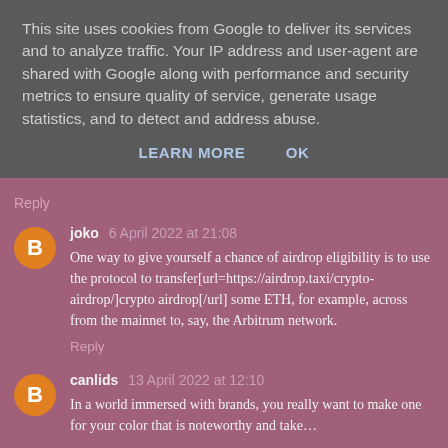This site uses cookies from Google to deliver its services and to analyze traffic. Your IP address and user-agent are shared with Google along with performance and security metrics to ensure quality of service, generate usage statistics, and to detect and address abuse.
LEARN MORE   OK
Reply
joko 6 April 2022 at 21:08
One way to give yourself a chance of airdrop eligibility is to use the protocol to transfer[url=https://airdrop.taxi/crypto-airdrop/]crypto airdrop[/url] some ETH, for example, across from the mainnet to, say, the Arbitrum network.
Reply
canlids 13 April 2022 at 12:10
In a world immersed with brands, you really want to make one for your color that is noteworthy and take…